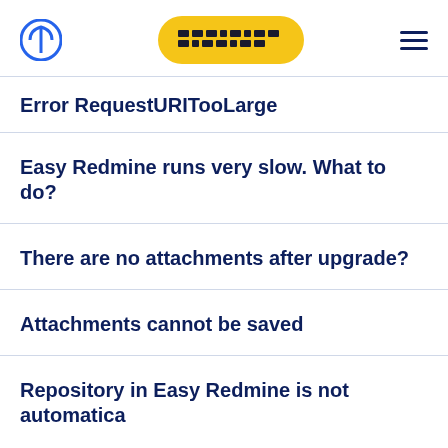Easy Redmine logo and navigation
Error RequestURITooLarge
Easy Redmine runs very slow. What to do?
There are no attachments after upgrade?
Attachments cannot be saved
Repository in Easy Redmine is not automatica